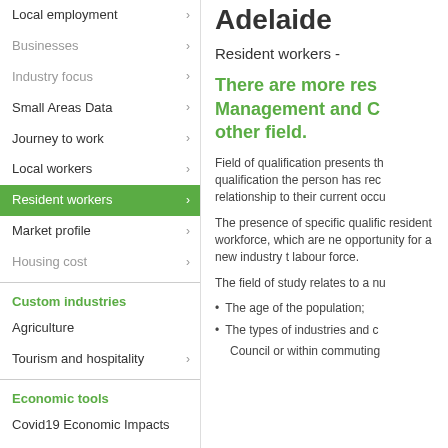Local employment
Businesses
Industry focus
Small Areas Data
Journey to work
Local workers
Resident workers
Market profile
Housing cost
Custom industries
Agriculture
Tourism and hospitality
Economic tools
Covid19 Economic Impacts
Economic impact model
Event impact calculator
Location quotient
Adelaide
Resident workers -
There are more res Management and C other field.
Field of qualification presents th qualification the person has rec relationship to their current occu
The presence of specific qualific resident workforce, which are ne opportunity for a new industry t labour force.
The field of study relates to a nu
The age of the population;
The types of industries and c
Council or within commuting